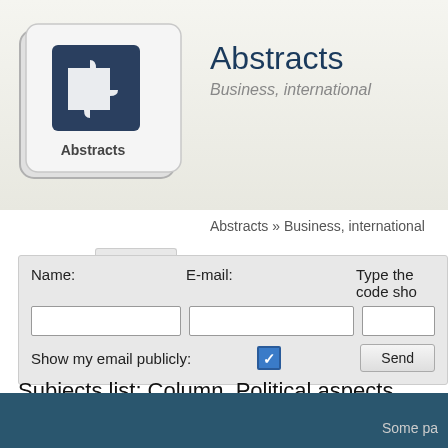Abstracts — Business, international
Abstracts » Business, international
Name: E-mail: Type the code sho  Show my email publicly: [checkbox checked] Send
Subjects list: Column, Political aspects, Economic development
This website is not affiliated with document authors or copyright owners
Some pa